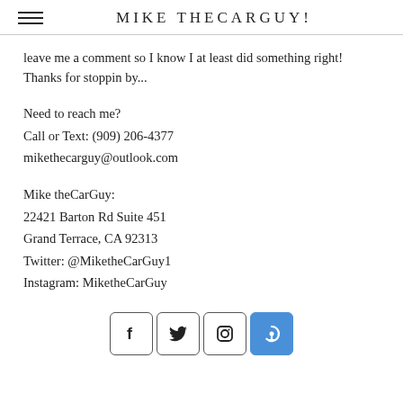MIKE THECARGUY!
leave me a comment so I know I at least did something right! Thanks for stoppin by...
Need to reach me?
Call or Text: (909) 206-4377
mikethecarguy@outlook.com
Mike theCarGuy:
22421 Barton Rd Suite 451
Grand Terrace, CA 92313
Twitter: @MiketheCarGuy1
Instagram: MiketheCarGuy
[Figure (infographic): Social media icons: Facebook, Twitter, Instagram, and a blue power/Periscope icon]